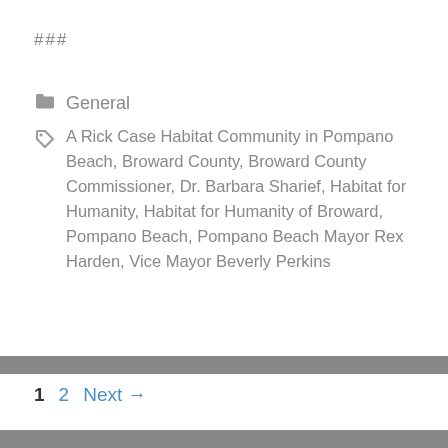###
General
A Rick Case Habitat Community in Pompano Beach, Broward County, Broward County Commissioner, Dr. Barbara Sharief, Habitat for Humanity, Habitat for Humanity of Broward, Pompano Beach, Pompano Beach Mayor Rex Harden, Vice Mayor Beverly Perkins
1  2  Next →